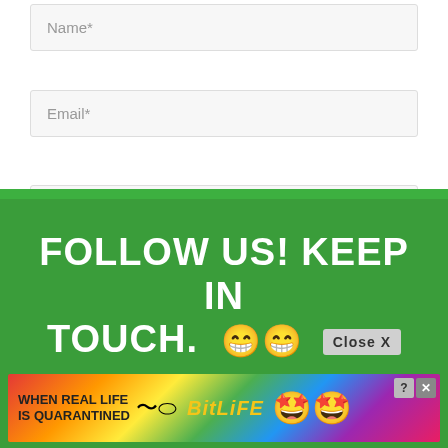Name*
Email*
Website
Post Comment »
[Figure (screenshot): Green footer banner with 'FOLLOW US! KEEP IN TOUCH.' text and emoji faces, with a Close X button, and a BitLife ad banner below showing rainbow background, star emoji mascot, and close buttons.]